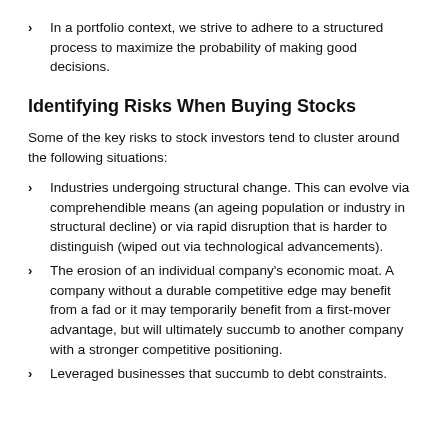In a portfolio context, we strive to adhere to a structured process to maximize the probability of making good decisions.
Identifying Risks When Buying Stocks
Some of the key risks to stock investors tend to cluster around the following situations:
Industries undergoing structural change. This can evolve via comprehendible means (an ageing population or industry in structural decline) or via rapid disruption that is harder to distinguish (wiped out via technological advancements).
The erosion of an individual company's economic moat. A company without a durable competitive edge may benefit from a fad or it may temporarily benefit from a first-mover advantage, but will ultimately succumb to another company with a stronger competitive positioning.
Leveraged businesses that succumb to debt constraints.